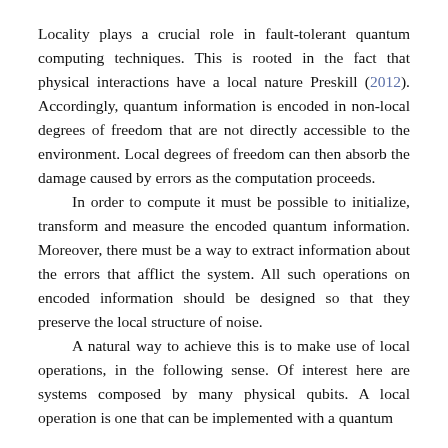Locality plays a crucial role in fault-tolerant quantum computing techniques. This is rooted in the fact that physical interactions have a local nature Preskill (2012). Accordingly, quantum information is encoded in non-local degrees of freedom that are not directly accessible to the environment. Local degrees of freedom can then absorb the damage caused by errors as the computation proceeds.

In order to compute it must be possible to initialize, transform and measure the encoded quantum information. Moreover, there must be a way to extract information about the errors that afflict the system. All such operations on encoded information should be designed so that they preserve the local structure of noise.

A natural way to achieve this is to make use of local operations, in the following sense. Of interest here are systems composed by many physical qubits. A local operation is one that can be implemented with a quantum